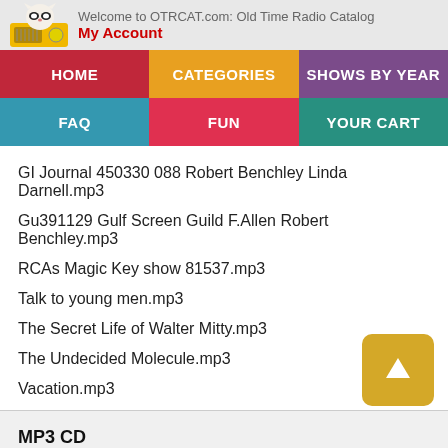Welcome to OTRCAT.com: Old Time Radio Catalog
My Account
HOME | CATEGORIES | SHOWS BY YEAR | FAQ | FUN | YOUR CART
GI Journal 450330 088 Robert Benchley Linda Darnell.mp3
Gu391129 Gulf Screen Guild F.Allen Robert Benchley.mp3
RCAs Magic Key show 81537.mp3
Talk to young men.mp3
The Secret Life of Walter Mitty.mp3
The Undecided Molecule.mp3
Vacation.mp3
MP3 CD
Standard Audio Cd